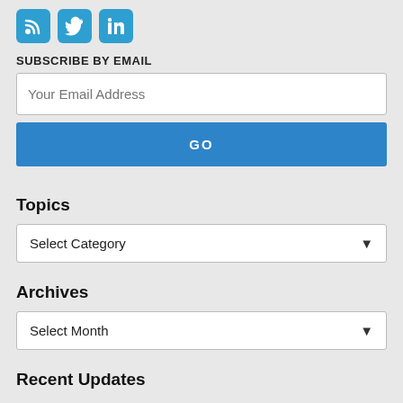[Figure (illustration): Three social media icons: RSS feed (blue), Twitter bird (blue), LinkedIn (blue)]
SUBSCRIBE BY EMAIL
Your Email Address
GO
Topics
Select Category
Archives
Select Month
Recent Updates